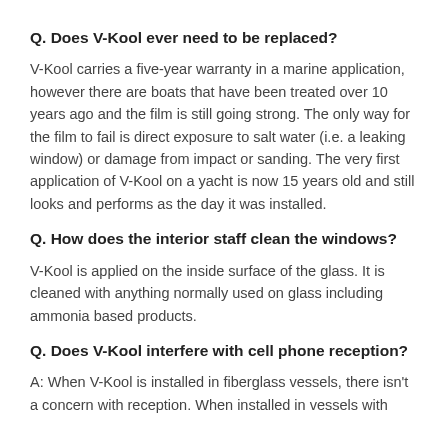Q. Does V-Kool ever need to be replaced?
V-Kool carries a five-year warranty in a marine application, however there are boats that have been treated over 10 years ago and the film is still going strong. The only way for the film to fail is direct exposure to salt water (i.e. a leaking window) or damage from impact or sanding. The very first application of V-Kool on a yacht is now 15 years old and still looks and performs as the day it was installed.
Q. How does the interior staff clean the windows?
V-Kool is applied on the inside surface of the glass. It is cleaned with anything normally used on glass including ammonia based products.
Q. Does V-Kool interfere with cell phone reception?
A: When V-Kool is installed in fiberglass vessels, there isn't a concern with reception. When installed in vessels with